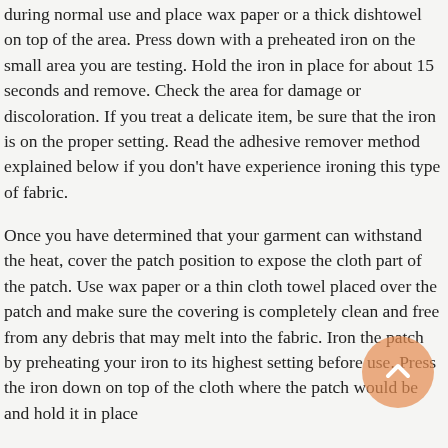during normal use and place wax paper or a thick dishtowel on top of the area. Press down with a preheated iron on the small area you are testing. Hold the iron in place for about 15 seconds and remove. Check the area for damage or discoloration. If you treat a delicate item, be sure that the iron is on the proper setting. Read the adhesive remover method explained below if you don't have experience ironing this type of fabric.
Once you have determined that your garment can withstand the heat, cover the patch position to expose the cloth part of the patch. Use wax paper or a thin cloth towel placed over the patch and make sure the covering is completely clean and free from any debris that may melt into the fabric. Iron the patch by preheating your iron to its highest setting before use. Press the iron down on top of the cloth where the patch would be and hold it in place